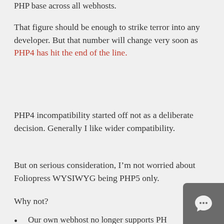PHP base across all webhosts.
That figure should be enough to strike terror into any developer. But that number will change very soon as PHP4 has hit the end of the line.
PHP4 incompatibility started off not as a deliberate decision. Generally I like wider compatibility.
But on serious consideration, I’m not worried about Foliopress WYSIWYG being PHP5 only.
Why not?
Our own webhost no longer supports PHP4 (they will put up with it on legacy projects but strongly discourage it).